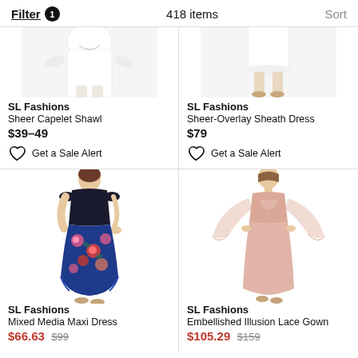Filter 1   418 items   Sort
[Figure (photo): Partial cropped image of a woman in a white sheer capelet shawl outfit (torso and legs visible)]
SL Fashions
Sheer Capelet Shawl
$39–49
Get a Sale Alert
[Figure (photo): Partial cropped image of a woman in a white sheer-overlay sheath dress (lower body and legs visible)]
SL Fashions
Sheer-Overlay Sheath Dress
$79
Get a Sale Alert
[Figure (photo): Full figure of a woman wearing a Mixed Media Maxi Dress with black top and floral blue/pink skirt]
SL Fashions
Mixed Media Maxi Dress
$66.63 $99
[Figure (photo): Full figure of a woman wearing an Embellished Illusion Lace Gown in blush pink with sheer wide sleeves]
SL Fashions
Embellished Illusion Lace Gown
$105.29 $159